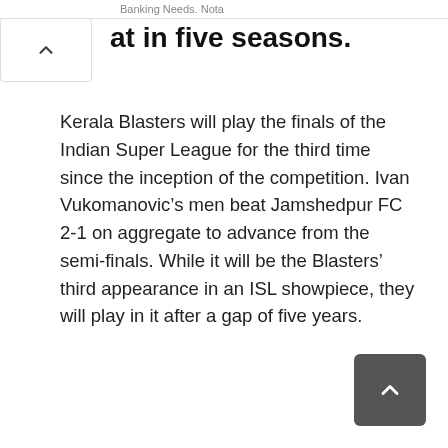Banking Needs. Nota
at in five seasons.
Kerala Blasters will play the finals of the Indian Super League for the third time since the inception of the competition. Ivan Vukomanovic’s men beat Jamshedpur FC 2-1 on aggregate to advance from the semi-finals. While it will be the Blasters’ third appearance in an ISL showpiece, they will play in it after a gap of five years.